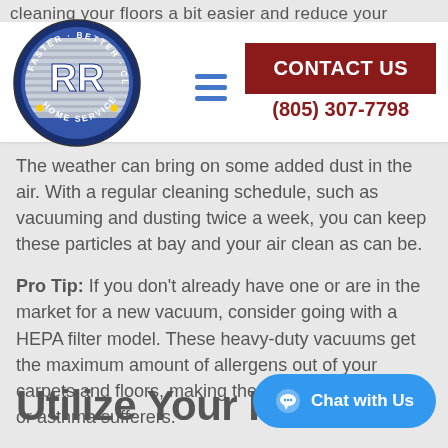cleaning your floors a bit easier and reduce your
[Figure (logo): RR Home Service circular logo with text FASTER · BETTER · CLEANER around the border, blue and white color scheme]
CONTACT US
(805) 307-7798
The weather can bring on some added dust in the air. With a regular cleaning schedule, such as vacuuming and dusting twice a week, you can keep these particles at bay and your air clean as can be.
Pro Tip: If you don't already have one or are in the market for a new vacuum, consider going with a HEPA filter model. These heavy-duty vacuums get the maximum amount of allergens out of your carpets and floors, making them perfect for allergy or asthma sufferers.
Utilize Your Fans
Chat with Us